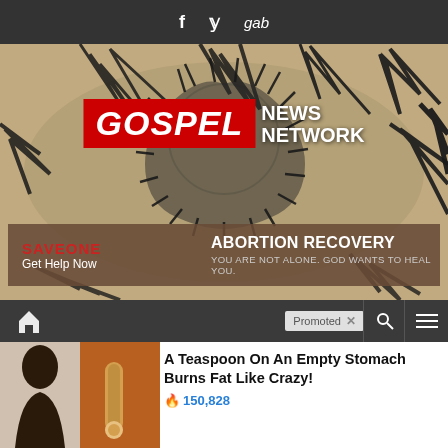f  y  gab
[Figure (logo): Gospel News Network logo with crown of thorns background and SaveOne Abortion Recovery advertisement banner]
[Figure (screenshot): Navigation bar with home icon, Promoted badge with X close button, search icon, and menu icon]
A Teaspoon On An Empty Stomach Burns Fat Like Crazy! 🔥 150,828
Everyone Who Believes In God Should Watch This. It Will Blow Your Mind 🔥 67,682